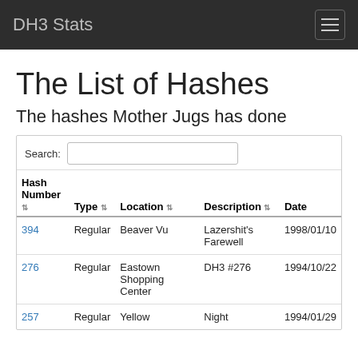DH3 Stats
The List of Hashes
The hashes Mother Jugs has done
| Hash Number | Type | Location | Description | Date |
| --- | --- | --- | --- | --- |
| 394 | Regular | Beaver Vu | Lazershit's Farewell | 1998/01/10 |
| 276 | Regular | Eastown Shopping Center | DH3 #276 | 1994/10/22 |
| 257 | Regular | Yellow | Night | 1994/01/29 |